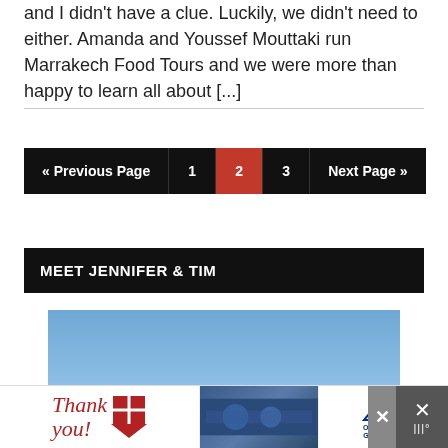and I didn't have a clue. Luckily, we didn't need to either. Amanda and Youssef Mouttaki run Marrakech Food Tours and we were more than happy to learn all about [...]
« Previous Page | 1 | 2 | 3 | Next Page »
MEET JENNIFER & TIM
[Figure (photo): Outdoor landscape photo showing a blue sky and mountain range in the background.]
[Figure (photo): Advertisement banner: 'Thank you!' with American flag imagery and Operation Gratitude logo.]